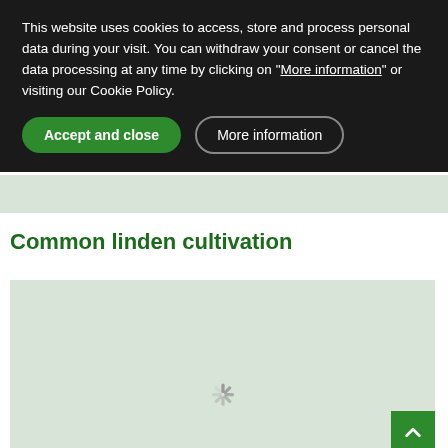This website uses cookies to access, store and process personal data during your visit. You can withdraw your consent or cancel the data processing at any time by clicking on "More information" or visiting our Cookie Policy.
Accept and close
More information
Common linden cultivation
[Figure (map): Interactive map area with light green/gray background showing a loading spinner, partially visible. A green scroll-to-top button with an upward arrow is in the bottom-right corner.]